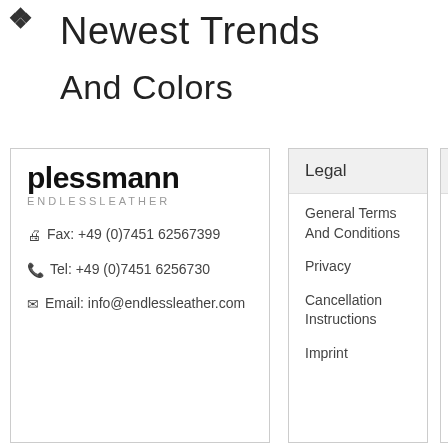Newest Trends
And Colors
plessmann ENDLESSLEATHER
Fax: +49 (0)7451 62567399
Tel: +49 (0)7451 6256730
Email: info@endlessleather.com
Legal
General Terms And Conditions
Privacy
Cancellation Instructions
Imprint
Inform
Payme
Shipp
Produ Inform
Holida
Newsl